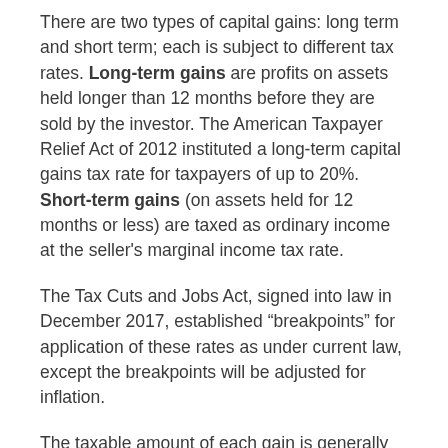There are two types of capital gains: long term and short term; each is subject to different tax rates. Long-term gains are profits on assets held longer than 12 months before they are sold by the investor. The American Taxpayer Relief Act of 2012 instituted a long-term capital gains tax rate for taxpayers of up to 20%. Short-term gains (on assets held for 12 months or less) are taxed as ordinary income at the seller's marginal income tax rate.
The Tax Cuts and Jobs Act, signed into law in December 2017, established “breakpoints” for application of these rates as under current law, except the breakpoints will be adjusted for inflation.
The taxable amount of each gain is generally determined by a “cost basis” — in other words, the original purchase price adjusted for additional improvements or investments, taxes paid on dividends, certain fees, and any depreciation of the